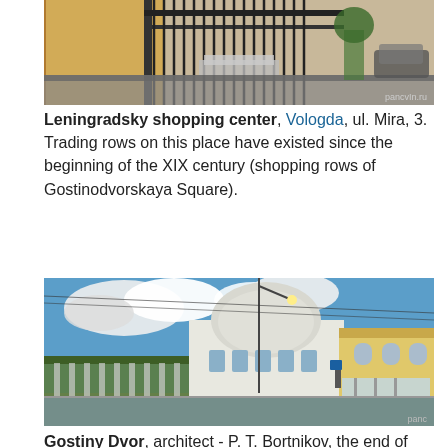[Figure (photo): Street-level photo of the Leningradsky shopping center exterior, showing an iron fence gate in front of a yellow building, with cars and trees visible.]
Leningradsky shopping center, Vologda, ul. Mira, 3. Trading rows on this place have existed since the beginning of the XIX century (shopping rows of Gostinodvorskaya Square).
[Figure (photo): Street-level photo of Gostiny Dvor in Vologda, Mira Street 5 — a large white neoclassical building with a dome, alongside a yellow facade building with shops. Blue sky with clouds above.]
Gostiny Dvor, architect - P. T. Bortnikov, the end of the century (Vologda, Mira Street, 5). The people - "Towers and